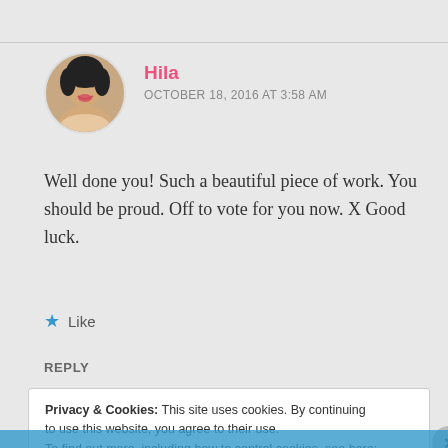[Figure (photo): Circular avatar photo of a woman named Hila, smiling with short hair]
Hila
OCTOBER 18, 2016 AT 3:58 AM
Well done you! Such a beautiful piece of work. You should be proud. Off to vote for you now. X Good luck.
Like
REPLY
Privacy & Cookies: This site uses cookies. By continuing to use this website, you agree to their use.
To find out more, including how to control cookies, see here: Cookie Policy
Close and accept